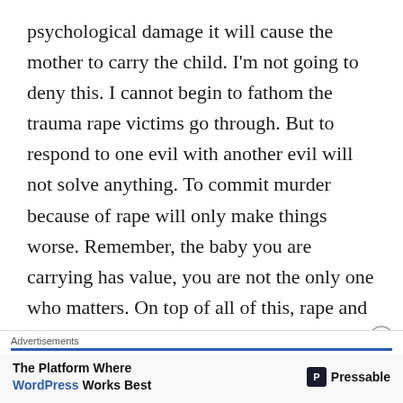psychological damage it will cause the mother to carry the child. I'm not going to deny this. I cannot begin to fathom the trauma rape victims go through. But to respond to one evil with another evil will not solve anything. To commit murder because of rape will only make things worse. Remember, the baby you are carrying has value, you are not the only one who matters. On top of all of this, rape and incest combined account for less than 1% of all abortions. Those who are pro-choice like to use the hard cases of rape and incest and pretend that they happen
Advertisements
The Platform Where WordPress Works Best | Pressable